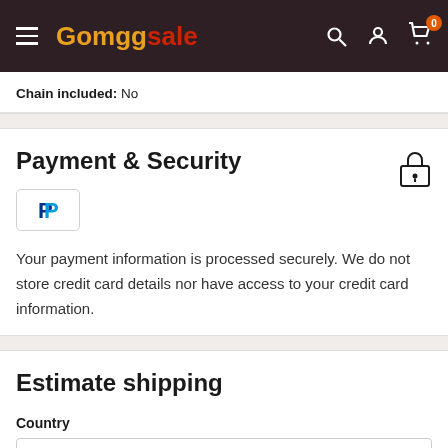Gomggsale
Chain included: No
Payment & Security
[Figure (logo): PayPal logo badge]
Your payment information is processed securely. We do not store credit card details nor have access to your credit card information.
Estimate shipping
Country